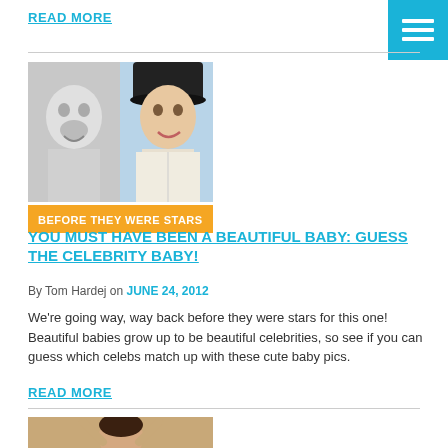READ MORE
[Figure (other): Menu hamburger button (three white lines on cyan/teal background)]
[Figure (photo): Split image: left side shows a black-and-white baby photo; right side shows a man in a black cap smiling at a public event]
BEFORE THEY WERE STARS
YOU MUST HAVE BEEN A BEAUTIFUL BABY: GUESS THE CELEBRITY BABY!
By Tom Hardej on JUNE 24, 2012
We're going way, way back before they were stars for this one! Beautiful babies grow up to be beautiful celebrities, so see if you can guess which celebs match up with these cute baby pics.
READ MORE
[Figure (photo): Photo of a woman posing with arms raised above head, beach/summer setting]